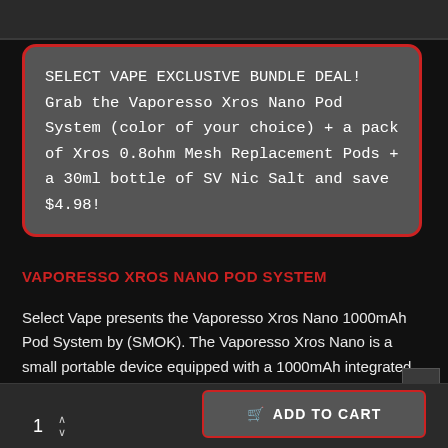SELECT VAPE EXCLUSIVE BUNDLE DEAL! Grab the Vaporesso Xros Nano Pod System (color of your choice) + a pack of Xros 0.8ohm Mesh Replacement Pods + a 30ml bottle of SV Nic Salt and save $4.98!
VAPORESSO XROS NANO POD SYSTEM
Select Vape presents the Vaporesso Xros Nano 1000mAh Pod System by (SMOK). The Vaporesso Xros Nano is a small portable device equipped with a 1000mAh integrated battery, operated via draw-activated firing mechanism and utilizes the Xros Pod